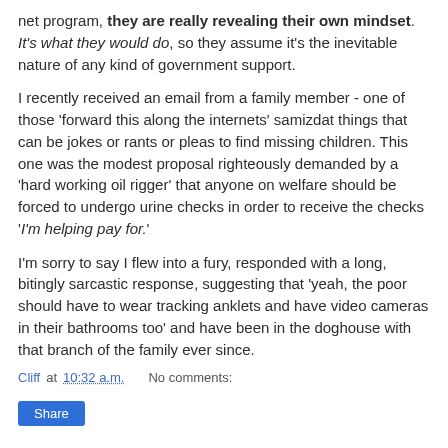net program, they are really revealing their own mindset. It's what they would do, so they assume it's the inevitable nature of any kind of government support.
I recently received an email from a family member - one of those 'forward this along the internets' samizdat things that can be jokes or rants or pleas to find missing children. This one was the modest proposal righteously demanded by a 'hard working oil rigger' that anyone on welfare should be forced to undergo urine checks in order to receive the checks 'I'm helping pay for.'
I'm sorry to say I flew into a fury, responded with a long, bitingly sarcastic response, suggesting that 'yeah, the poor should have to wear tracking anklets and have video cameras in their bathrooms too' and have been in the doghouse with that branch of the family ever since.
Cliff at 10:32 a.m.    No comments:
Share